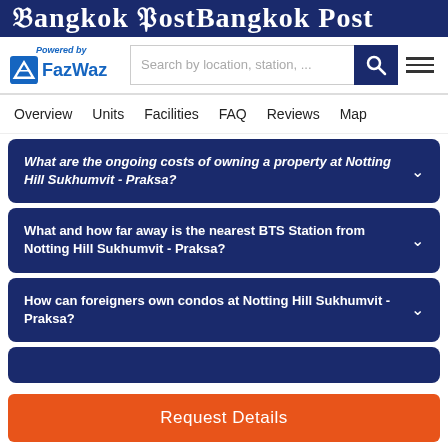Bangkok Post
[Figure (logo): FazWaz logo with 'Powered by' text, search bar with placeholder 'Search by location, station, ...', search button, and hamburger menu icon]
Overview  Units  Facilities  FAQ  Reviews  Map
What are the ongoing costs of owning a property at Notting Hill Sukhumvit - Praksa?
What and how far away is the nearest BTS Station from Notting Hill Sukhumvit - Praksa?
How can foreigners own condos at Notting Hill Sukhumvit - Praksa?
Request Details